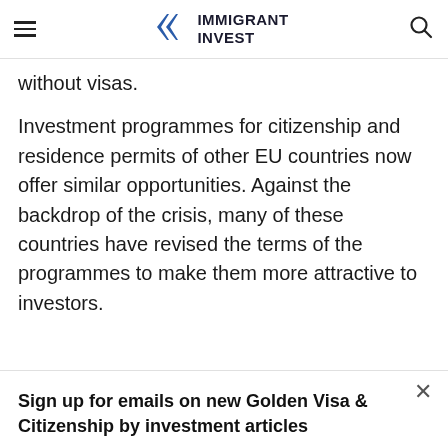IMMIGRANT INVEST
without visas.
Investment programmes for citizenship and residence permits of other EU countries now offer similar opportunities. Against the backdrop of the crisis, many of these countries have revised the terms of the programmes to make them more attractive to investors.
Sign up for emails on new Golden Visa & Citizenship by investment articles